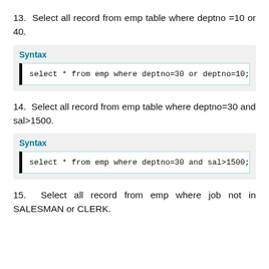13. Select all record from emp table where deptno =10 or 40.
Syntax
14. Select all record from emp table where deptno=30 and sal>1500.
Syntax
15. Select all record from emp where job not in SALESMAN or CLERK.